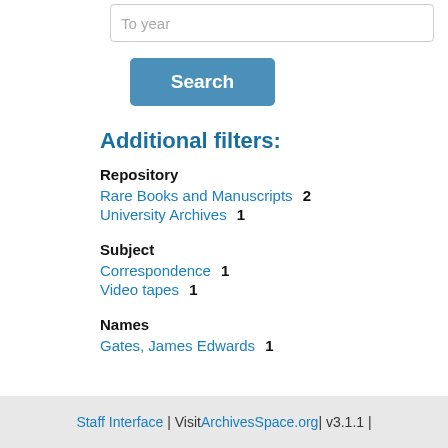To year
Search
Additional filters:
Repository
Rare Books and Manuscripts  2
University Archives  1
Subject
Correspondence  1
Video tapes  1
Names
Gates, James Edwards  1
Staff Interface | Visit ArchivesSpace.org | v3.1.1 |